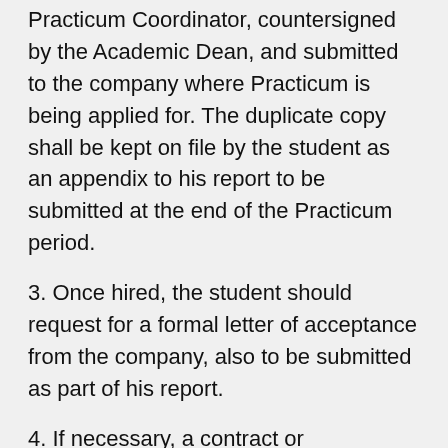Practicum Coordinator, countersigned by the Academic Dean, and submitted to the company where Practicum is being applied for. The duplicate copy shall be kept on file by the student as an appendix to his report to be submitted at the end of the Practicum period.
3. Once hired, the student should request for a formal letter of acceptance from the company, also to be submitted as part of his report.
4. If necessary, a contract or memorandum of agreement shall be signed between the student, the company, and the school for the Practicum experience.
5. While at work, the student shall start researching and compiling information required for his Practicum Report.
6. The student should keep a daily time record while